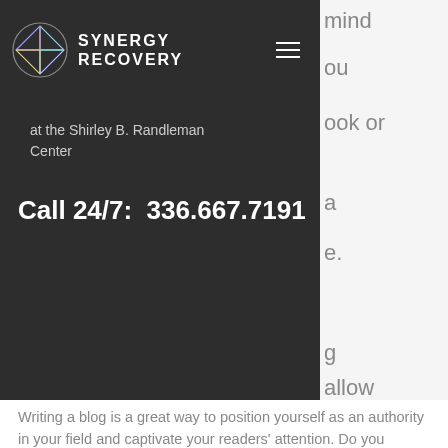[Figure (logo): Synergy Recovery logo with geometric diamond/arrow icon and brand name SYNERGY RECOVERY in white bold letters on dark background with hamburger menu icon]
at the Shirley B. Randleman Center
Call 24/7:  336.667.7191
Writing a blog is a great way to position yourself as an authority in your field and captivate your readers' attention. Do you